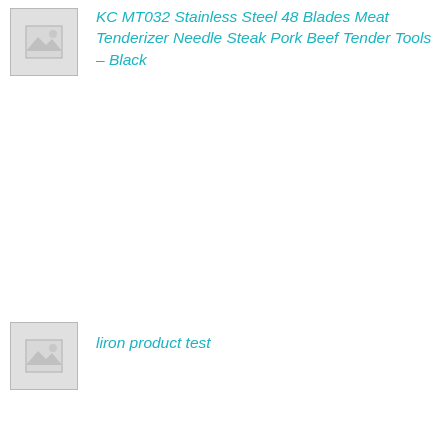[Figure (other): Placeholder image thumbnail (grey square with mountain/image icon)]
KC MT032 Stainless Steel 48 Blades Meat Tenderizer Needle Steak Pork Beef Tender Tools – Black
[Figure (other): Placeholder image thumbnail (grey square with mountain/image icon)]
liron product test